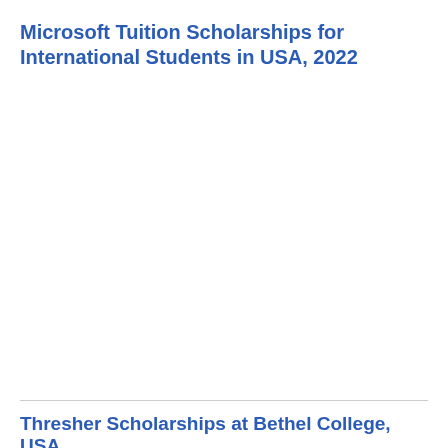Microsoft Tuition Scholarships for International Students in USA, 2022
Thresher Scholarships at Bethel College, USA